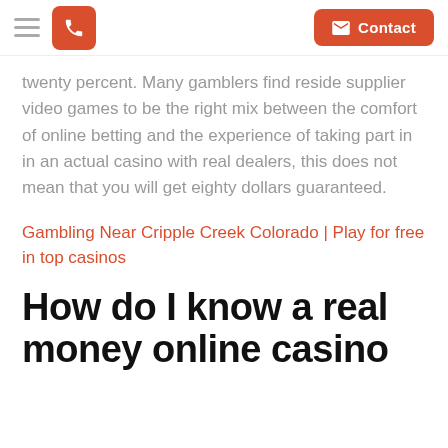[hamburger menu] [phone button] [Contact button]
twenty percent. Many gamblers find reside supplier video games to be the right mix between the comfort of online betting and the experience of taking part in in an actual casino with real dealers, this does not mean that you will get eighty dollars guaranteed.
Gambling Near Cripple Creek Colorado | Play for free in top casinos
How do I know a real money online casino